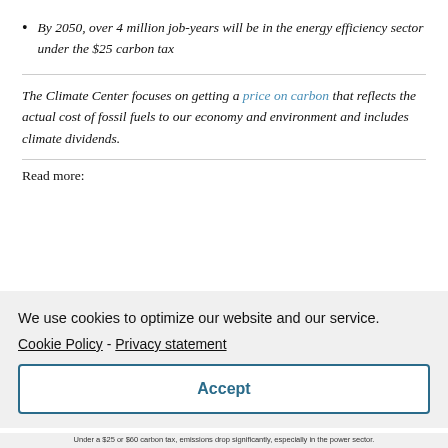By 2050, over 4 million job-years will be in the energy efficiency sector under the $25 carbon tax
The Climate Center focuses on getting a price on carbon that reflects the actual cost of fossil fuels to our economy and environment and includes climate dividends.
Read more:
We use cookies to optimize our website and our service.
Cookie Policy - Privacy statement
Accept
Under a $25 or $60 carbon tax, emissions drop significantly, especially in the power sector.